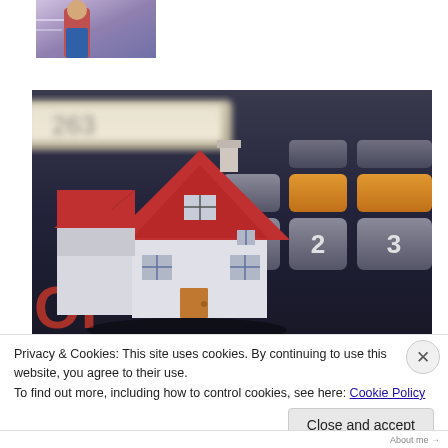[Figure (photo): Small thumbnail photo showing a person in a red top and blue jeans, partial view, against a light background.]
[Figure (photo): A miniature 3D model house with red roof placed on top of a calculator keyboard, illustrating home mortgage or real estate finance concept.]
Privacy & Cookies: This site uses cookies. By continuing to use this website, you agree to their use.
To find out more, including how to control cookies, see here: Cookie Policy
Close and accept